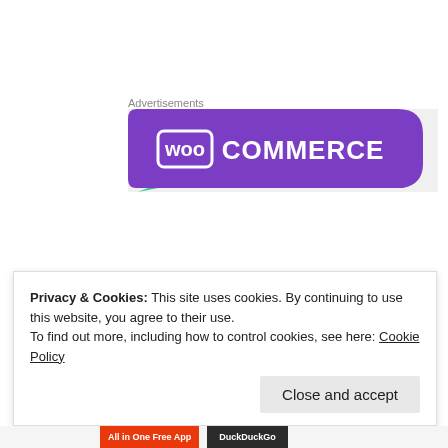Advertisements
[Figure (logo): WooCommerce advertisement banner with purple background featuring the WooCommerce logo (woo in a speech bubble and COMMERCE text in white)]
Privacy & Cookies: This site uses cookies. By continuing to use this website, you agree to their use.
To find out more, including how to control cookies, see here: Cookie Policy
Close and accept